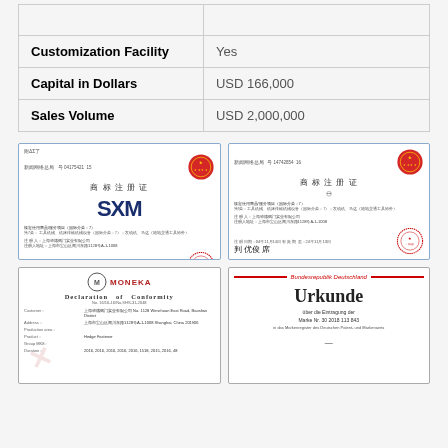|  |  |
| --- | --- |
| Customization Facility | Yes |
| Capital in Dollars | USD 166,000 |
| Sales Volume | USD 2,000,000 |
[Figure (other): Chinese trademark registration certificate for SXM text logo]
[Figure (other): Chinese trademark registration certificate for SXM circular logo]
[Figure (other): MONEKA Declaration of Conformity certificate]
[Figure (other): Bundesrepublik Deutschland Urkunde certificate for trademark registration Marke Nr. 30 2018 113 843]